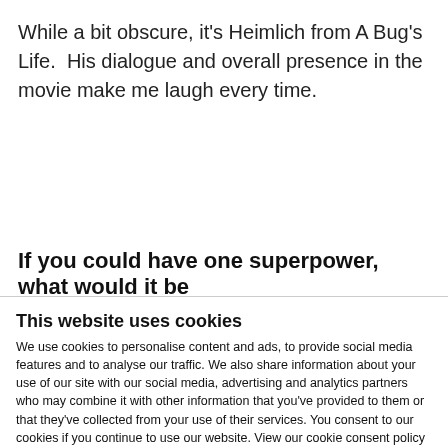While a bit obscure, it's Heimlich from A Bug's Life.  His dialogue and overall presence in the movie make me laugh every time.
If you could have one superpower, what would it be
This website uses cookies
We use cookies to personalise content and ads, to provide social media features and to analyse our traffic. We also share information about your use of our site with our social media, advertising and analytics partners who may combine it with other information that you've provided to them or that they've collected from your use of their services. You consent to our cookies if you continue to use our website. View our cookie consent policy here: https://www.promega.com/legal/cookie-policy/.
Allow all cookies
Show details